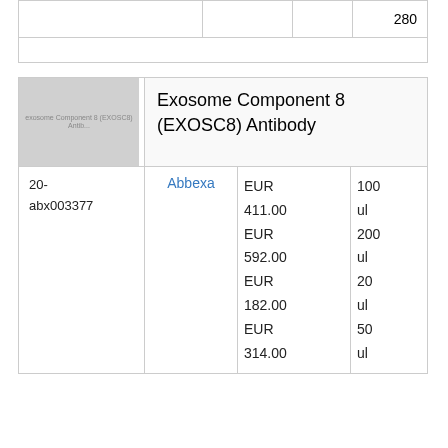|  |  |  |  |
| --- | --- | --- | --- |
|  |  |  | 280 |
|  |  |  |  |
[Figure (photo): Gray placeholder image for Exosome Component 8 (EXOSC8) Antibody product]
Exosome Component 8 (EXOSC8) Antibody
|  |  |  |  |
| --- | --- | --- | --- |
| 20-abx003377 | Abbexa | EUR 411.00
EUR 592.00
EUR 182.00
EUR 314.00 | 100 ul
200 ul
20 ul
50 ul |